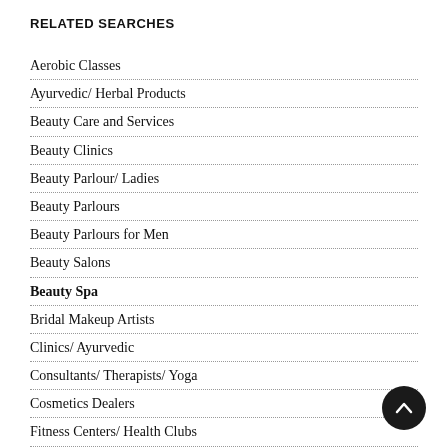RELATED SEARCHES
Aerobic Classes
Ayurvedic/ Herbal Products
Beauty Care and Services
Beauty Clinics
Beauty Parlour/ Ladies
Beauty Parlours
Beauty Parlours for Men
Beauty Salons
Beauty Spa
Bridal Makeup Artists
Clinics/ Ayurvedic
Consultants/ Therapists/ Yoga
Cosmetics Dealers
Fitness Centers/ Health Clubs
Hair Care Clinics